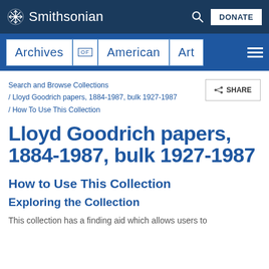Smithsonian
[Figure (logo): Archives of American Art logo with navigation bar]
Search and Browse Collections / Lloyd Goodrich papers, 1884-1987, bulk 1927-1987 / How To Use This Collection
Lloyd Goodrich papers, 1884-1987, bulk 1927-1987
How to Use This Collection
Exploring the Collection
This collection has a finding aid which allows users to